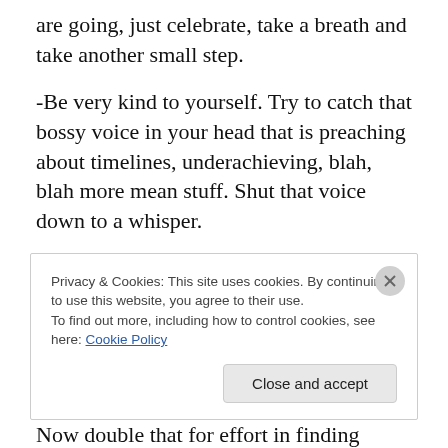are going, just celebrate, take a breath and take another small step.
-Be very kind to yourself. Try to catch that bossy voice in your head that is preaching about timelines, underachieving, blah, blah more mean stuff. Shut that voice down to a whisper.
-Find things that you feel good about and do them. Whether that is fishing, yoga or reading mysteries. Find things that comfort you or support you in your journey.
Now double that for effort in finding people to do the same
Privacy & Cookies: This site uses cookies. By continuing to use this website, you agree to their use.
To find out more, including how to control cookies, see here: Cookie Policy
Close and accept